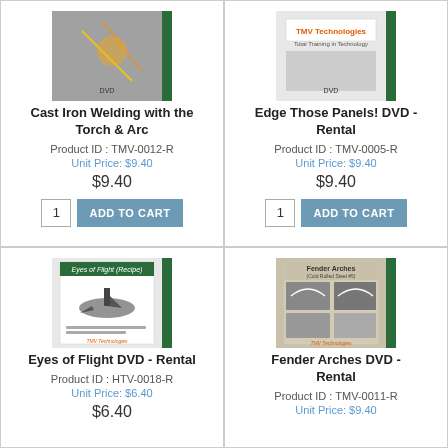[Figure (photo): Product image for Cast Iron Welding with the Torch & Arc DVD]
Cast Iron Welding with the Torch & Arc
Product ID : TMV-0012-R
Unit Price: $9.40
$9.40
1  ADD TO CART
[Figure (photo): Product image for Edge Those Panels! DVD - Rental]
Edge Those Panels! DVD - Rental
Product ID : TMV-0005-R
Unit Price: $9.40
$9.40
1  ADD TO CART
[Figure (photo): Product image for Eyes of Flight DVD - Rental]
Eyes of Flight DVD - Rental
Product ID : HTV-0018-R
Unit Price: $6.40
$6.40
[Figure (photo): Product image for Fender Arches DVD - Rental]
Fender Arches DVD - Rental
Product ID : TMV-0011-R
Unit Price: $9.40